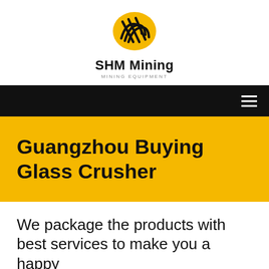[Figure (logo): SHM Mining logo: yellow oval with black diagonal lines forming a wave/spring pattern]
SHM Mining
MINING EQUIPMENT
[Figure (other): Black navigation bar with hamburger menu icon on the right]
Guangzhou Buying Glass Crusher
We package the products with best services to make you a happy